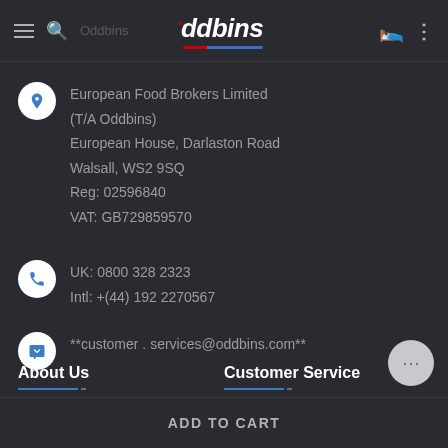Oddbins
European Food Brokers Limited (T/A Oddbins)
European House, Darlaston Road
Walsall, WS2 9SQ
Reg: 02596840
VAT: GB729859570
UK: 0800 328 2323
Intl: +(44) 192 2270567
**customer . services@oddbins.com**
About Us
Customer Service
ADD TO CART